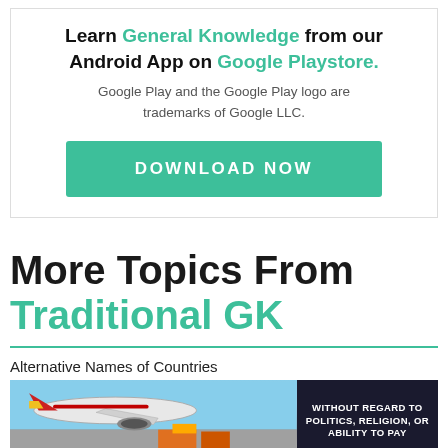Learn General Knowledge from our Android App on Google Playstore.
Google Play and the Google Play logo are trademarks of Google LLC.
DOWNLOAD NOW
More Topics From Traditional GK
[Figure (photo): An airplane being loaded with cargo on a tarmac, with a dark sidebar showing text 'WITHOUT REGARD TO POLITICS, RELIGION, OR ABILITY TO PAY']